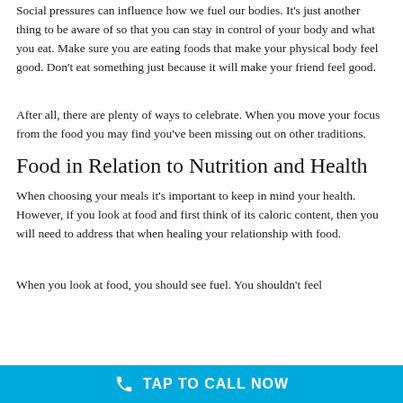Social pressures can influence how we fuel our bodies. It's just another thing to be aware of so that you can stay in control of your body and what you eat. Make sure you are eating foods that make your physical body feel good. Don't eat something just because it will make your friend feel good.
After all, there are plenty of ways to celebrate. When you move your focus from the food you may find you've been missing out on other traditions.
Food in Relation to Nutrition and Health
When choosing your meals it's important to keep in mind your health. However, if you look at food and first think of its caloric content, then you will need to address that when healing your relationship with food.
When you look at food, you should see fuel. You shouldn't feel
TAP TO CALL NOW